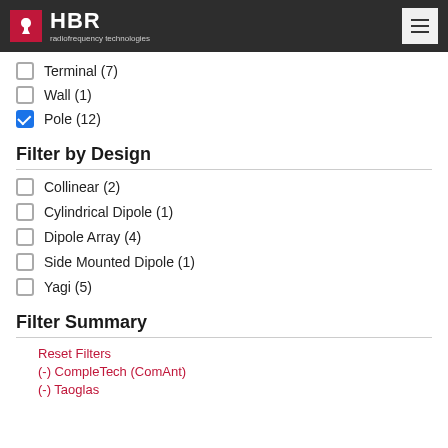HBR radiofrequency technologies
Terminal (7)
Wall (1)
Pole (12) [checked]
Filter by Design
Collinear (2)
Cylindrical Dipole (1)
Dipole Array (4)
Side Mounted Dipole (1)
Yagi (5)
Filter Summary
Reset Filters
(-) CompleTech (ComAnt)
(-) Taoglas